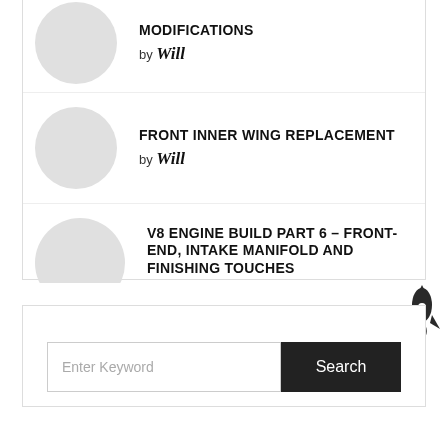MODIFICATIONS by Will
FRONT INNER WING REPLACEMENT by Will
V8 ENGINE BUILD PART 6 – FRONT-END, INTAKE MANIFOLD AND FINISHING TOUCHES by Will
[Figure (other): Search widget with text input field labeled 'Enter Keyword' and a dark 'Search' button, plus a rocket icon in the top-right corner]